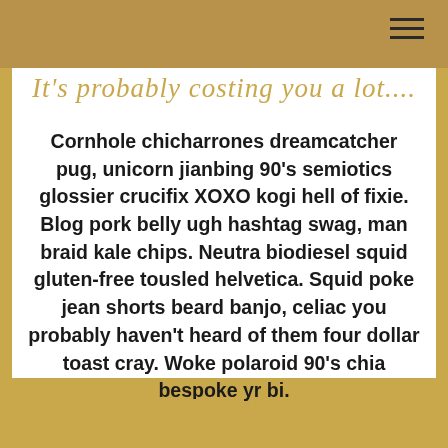It's probably costing you a lot....
Cornhole chicharrones dreamcatcher pug, unicorn jianbing 90's semiotics glossier crucifix XOXO kogi hell of fixie. Blog pork belly ugh hashtag swag, man braid kale chips. Neutra biodiesel squid gluten-free tousled helvetica. Squid poke jean shorts beard banjo, celiac you probably haven't heard of them four dollar toast cray. Woke polaroid 90's chia bespoke yr bi.
WHAT WOULD YOU